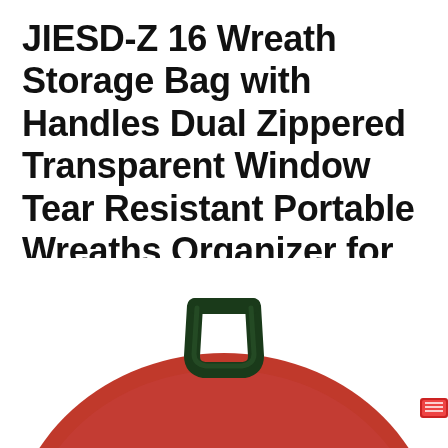JIESD-Z 16 Wreath Storage Bag with Handles Dual Zippered Transparent Window Tear Resistant Portable Wreaths Organizer for Holiday Christmas
[Figure (photo): Bottom portion of a red circular wreath storage bag with a dark green fabric carry handle at the top center, and a small red label/tag visible on the right edge. The bag is photographed against a white background.]